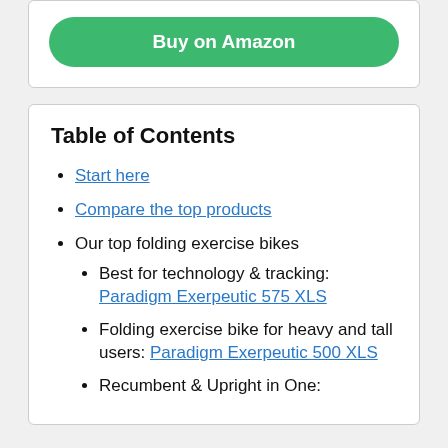Buy on Amazon
Table of Contents
Start here
Compare the top products
Our top folding exercise bikes
Best for technology & tracking: Paradigm Exerpeutic 575 XLS
Folding exercise bike for heavy and tall users: Paradigm Exerpeutic 500 XLS
Recumbent & Upright in One: